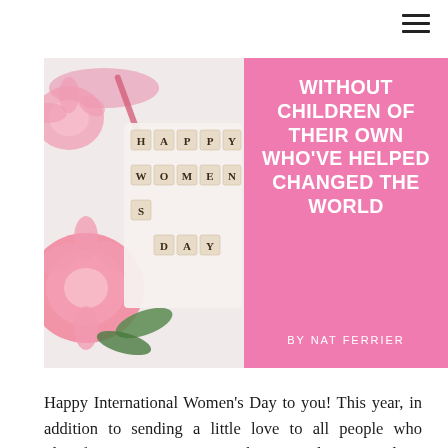[Figure (photo): Banner image split into two halves: left side shows a photo with 'HAPPY WOMENS DAY' scrabble tiles and pink flowers on a white background; right side is a pink panel with white bold text reading 'WITHOUT CHILDREN OF THEIR OWN WHO'VE HELPED CHANGED THE WORLD' and author credit 'BY NAT FERRIER']
Happy International Women's Day to you! This year, in addition to sending a little love to all people who identify as Women everywhere, I also wanted to celebrate the achievements of one of the sometimes forgotten, but ever growing groups of Women; those without children by choice or circumstance. There is an